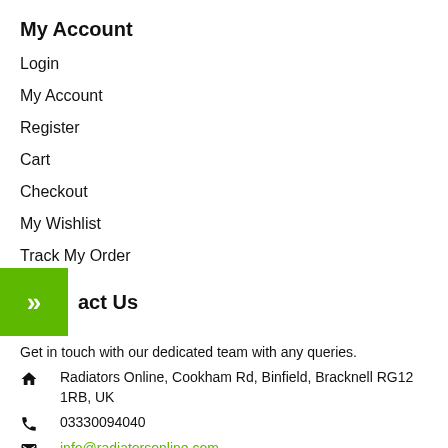My Account
Login
My Account
Register
Cart
Checkout
My Wishlist
Track My Order
Contact Us
Get in touch with our dedicated team with any queries.
Radiators Online, Cookham Rd, Binfield, Bracknell RG12 1RB, UK
03330094040
info@radiatorsonline.com